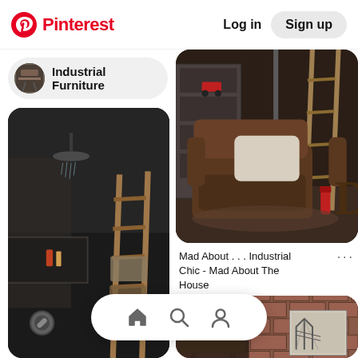Pinterest  Log in  Sign up
Industrial Furniture
[Figure (photo): Dark industrial bathroom with concrete walls, shower head, wooden ladder, and shelf with items]
[Figure (photo): Industrial chic living room with brown leather armchair, cream pillow, wooden ladder, metal shelving, and decorative 'D' letter]
Mad About . . . Industrial Chic - Mad About The House
[Figure (photo): Industrial style room with exposed brick wall, shelving and Brooklyn Bridge artwork]
[Figure (screenshot): Bottom navigation bar with home, search, and profile icons]